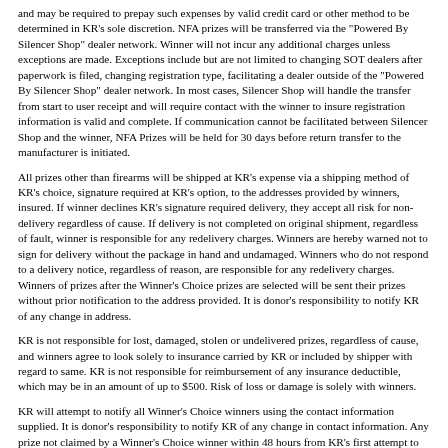and may be required to prepay such expenses by valid credit card or other method to be determined in KR's sole discretion. NFA prizes will be transferred via the "Powered By Silencer Shop" dealer network. Winner will not incur any additional charges unless exceptions are made. Exceptions include but are not limited to changing SOT dealers after paperwork is filed, changing registration type, facilitating a dealer outside of the "Powered By Silencer Shop" dealer network. In most cases, Silencer Shop will handle the transfer from start to user receipt and will require contact with the winner to insure registration information is valid and complete. If communication cannot be facilitated between Silencer Shop and the winner, NFA Prizes will be held for 30 days before return transfer to the manufacturer is initiated.
All prizes other than firearms will be shipped at KR's expense via a shipping method of KR's choice, signature required at KR's option, to the addresses provided by winners, insured. If winner declines KR's signature required delivery, they accept all risk for non-delivery regardless of cause. If delivery is not completed on original shipment, regardless of fault, winner is responsible for any redelivery charges. Winners are hereby warned not to sign for delivery without the package in hand and undamaged. Winners who do not respond to a delivery notice, regardless of reason, are responsible for any redelivery charges. Winners of prizes after the Winner's Choice prizes are selected will be sent their prizes without prior notification to the address provided. It is donor's responsibility to notify KR of any change in address.
KR is not responsible for lost, damaged, stolen or undelivered prizes, regardless of cause, and winners agree to look solely to insurance carried by KR or included by shipper with regard to same. KR is not responsible for reimbursement of any insurance deductible, which may be in an amount of up to $500. Risk of loss or damage is solely with winners.
KR will attempt to notify all Winner's Choice winners using the contact information supplied. It is donor's responsibility to notify KR of any change in contact information. Any prize not claimed by a Winner's Choice winner within 48 hours from KR's first attempt to notify the winner will be forfeited and all other winners drawn will move up one place in priority. If a Winner's Choice winner that does not respond within the 48 hours later contacts KR, they will be offered the choice of